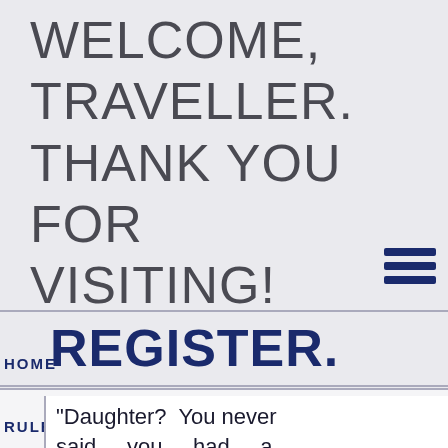WELCOME, TRAVELLER. THANK YOU FOR VISITING! PLEASE LOGIN OR REGISTER.
[Figure (other): Hamburger menu icon (three horizontal lines) in navy blue]
HOME
RULES.
"Daughter? You never said you had a